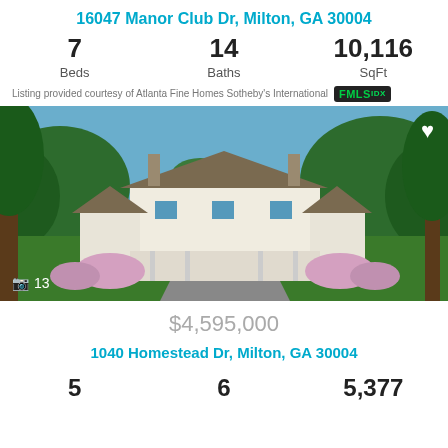16047 Manor Club Dr, Milton, GA 30004
7 Beds
14 Baths
10,116 SqFt
Listing provided courtesy of Atlanta Fine Homes Sotheby's International FMLS IDX
[Figure (photo): Exterior rendered photo of a large white farmhouse-style home with wrap-around porch, chimneys, landscaping with flowering bushes, and a driveway approach. Heart icon and camera with count '13' overlaid.]
$4,595,000
1040 Homestead Dr, Milton, GA 30004
5
6
5,377